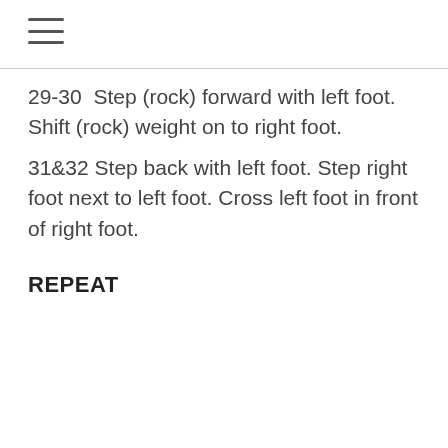≡
29-30  Step (rock) forward with left foot. Shift (rock) weight on to right foot.
31&32 Step back with left foot. Step right foot next to left foot. Cross left foot in front of right foot.
REPEAT